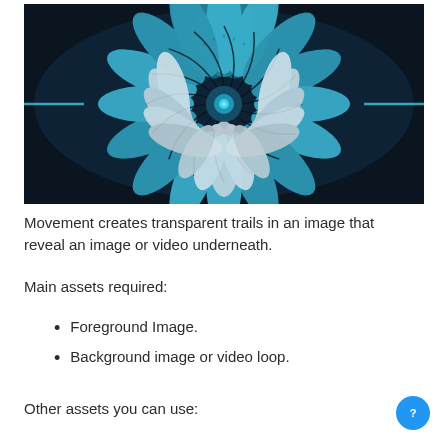[Figure (illustration): A symmetrical fractal mandala-like image with teal/turquoise and silver-white feather or petal shapes arranged in a radial flower pattern on a dark background.]
Movement creates transparent trails in an image that reveal an image or video underneath.
Main assets required:
Foreground Image.
Background image or video loop.
Other assets you can use: